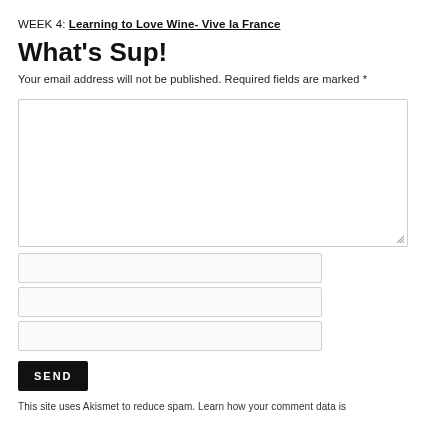WEEK 4: Learning to Love Wine- Vive la France
What's Sup!
Your email address will not be published. Required fields are marked *
[Figure (other): Large comment text area input box]
[Figure (other): Three text input fields stacked vertically]
SEND
This site uses Akismet to reduce spam. Learn how your comment data is